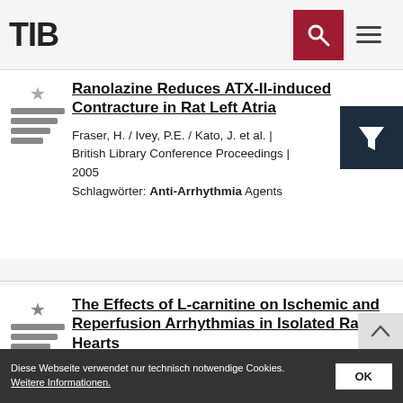TIB
Ranolazine Reduces ATX-II-induced Contracture in Rat Left Atria
Fraser, H. / Ivey, P.E. / Kato, J. et al. | British Library Conference Proceedings | 2005
Schlagwörter: Anti-Arrhythmia Agents
The Effects of L-carnitine on Ischemic and Reperfusion Arrhythmias in Isolated Rat Hearts
Gariani, A. / Naiafi, M. / Maleki, N. et al. |
Diese Webseite verwendet nur technisch notwendige Cookies. Weitere Informationen. OK